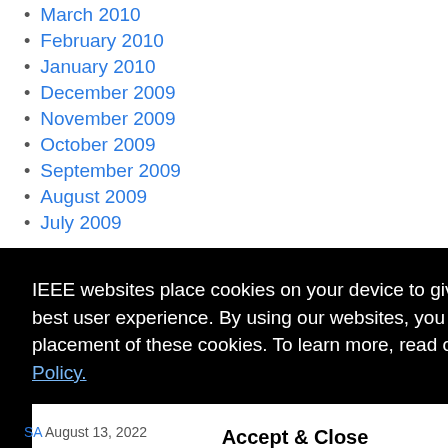March 2010
February 2010
January 2010
December 2009
November 2009
October 2009
September 2009
August 2009
July 2009
IEEE websites place cookies on your device to give you the best user experience. By using our websites, you agree to the placement of these cookies. To learn more, read our Privacy Policy.
Accept & Close
SA August 13, 2022